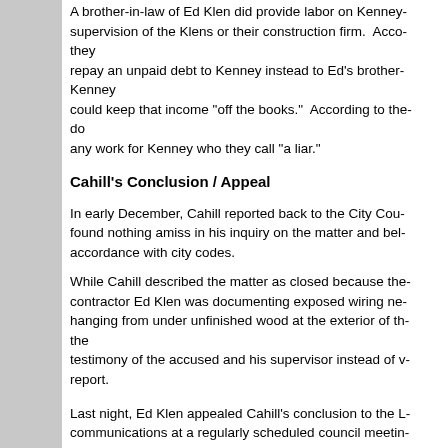A brother-in-law of Ed Klen did provide labor on Kenney- supervision of the Klens or their construction firm.  Acco- they repay an unpaid debt to Kenney instead to Ed's brother- Kenney could keep that income "off the books."  According to the- do any work for Kenney who they call "a liar."
Cahill's Conclusion / Appeal
In early December, Cahill reported back to the City Cou- found nothing amiss in his inquiry on the matter and bel- accordance with city codes.
While Cahill described the matter as closed because the- contractor Ed Klen was documenting exposed wiring ne- hanging from under unfinished wood at the exterior of th- the testimony of the accused and his supervisor instead of v- report.
Last night, Ed Klen appealed Cahill's conclusion to the L- communications at a regularly scheduled council meetin-